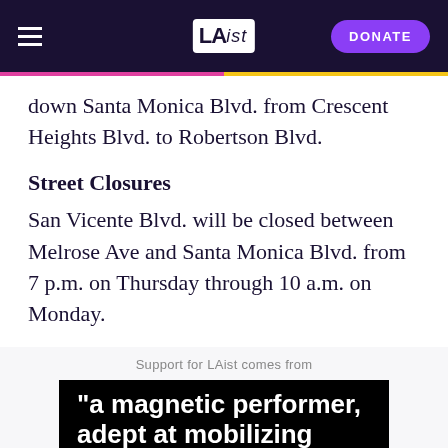LAist | DONATE
down Santa Monica Blvd. from Crescent Heights Blvd. to Robertson Blvd.
Street Closures
San Vicente Blvd. will be closed between Melrose Ave and Santa Monica Blvd. from 7 p.m. on Thursday through 10 a.m. on Monday.
Support for LAist comes from
[Figure (photo): Dark advertisement image with white bold text reading: "a magnetic performer, adept at mobilizing"]